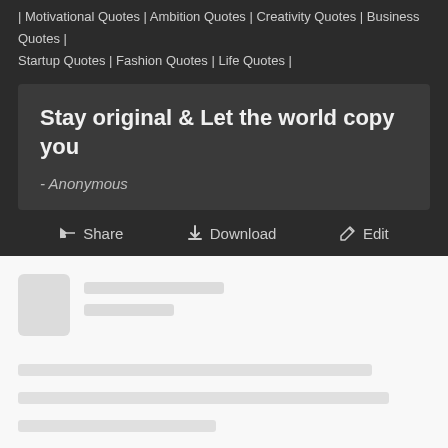| Motivational Quotes | Ambition Quotes | Creativity Quotes | Business Quotes | Startup Quotes | Fashion Quotes | Life Quotes |
Stay original & Let the world copy you
- Anonymous
Share  Download  Edit
[Figure (other): Blurred/placeholder user profile card with avatar silhouette, two placeholder text lines, and three gray content lines below]